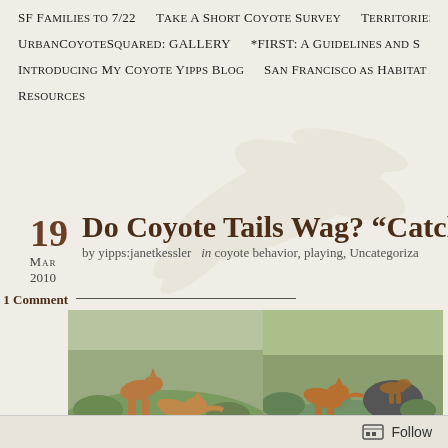SF Families to 7/22 | Take A Short Coyote Survey | Territories
UrbanCoyoteSquared: GALLERY | *FIRST: A Guidelines and S
Introducing My Coyote Yipps Blog | San Francisco as Habitat a
Resources
Do Coyote Tails Wag? “Catch M
19 MAR 2010 — by yipps:janetkessler in coyote behavior, playing, Uncategoriza
1 Comment
[Figure (photo): Two photographs side by side showing coyotes on a grassy hillside in San Francisco.]